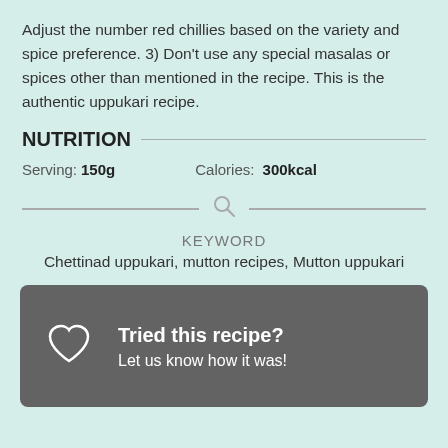Adjust the number red chillies based on the variety and spice preference. 3) Don't use any special masalas or spices other than mentioned in the recipe. This is the authentic uppukari recipe.
NUTRITION
Serving: 150g   Calories: 300kcal
KEYWORD
Chettinad uppukari, mutton recipes, Mutton uppukari
Tried this recipe? Let us know how it was!